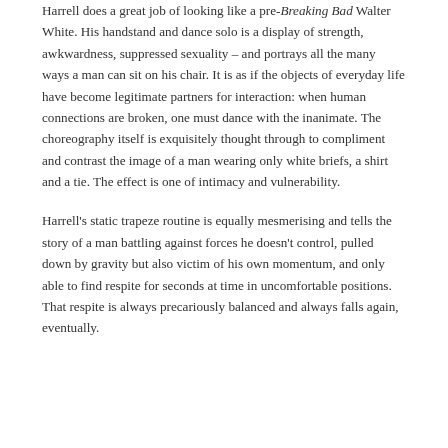Harrell does a great job of looking like a pre-Breaking Bad Walter White. His handstand and dance solo is a display of strength, awkwardness, suppressed sexuality – and portrays all the many ways a man can sit on his chair. It is as if the objects of everyday life have become legitimate partners for interaction: when human connections are broken, one must dance with the inanimate. The choreography itself is exquisitely thought through to compliment and contrast the image of a man wearing only white briefs, a shirt and a tie. The effect is one of intimacy and vulnerability.
Harrell's static trapeze routine is equally mesmerising and tells the story of a man battling against forces he doesn't control, pulled down by gravity but also victim of his own momentum, and only able to find respite for seconds at time in uncomfortable positions. That respite is always precariously balanced and always falls again, eventually.